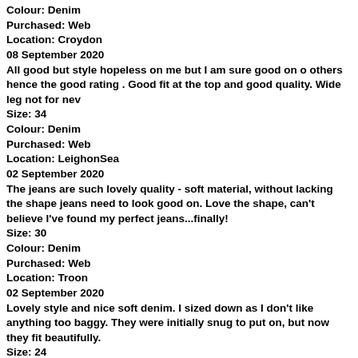Colour: Denim
Purchased: Web
Location: Croydon
08 September 2020
All good but style hopeless on me but I am sure good on o others hence the good rating . Good fit at the top and good quality. Wide leg not for nev
Size: 34
Colour: Denim
Purchased: Web
Location: LeighonSea
02 September 2020
The jeans are such lovely quality - soft material, without lacking the shape jeans need to look good on. Love the shape, can't believe I've found my perfect jeans...finally!
Size: 30
Colour: Denim
Purchased: Web
Location: Troon
02 September 2020
Lovely style and nice soft denim. I sized down as I don't like anything too baggy. They were initially snug to put on, but now they fit beautifully.
Size: 24
Colour: Denim